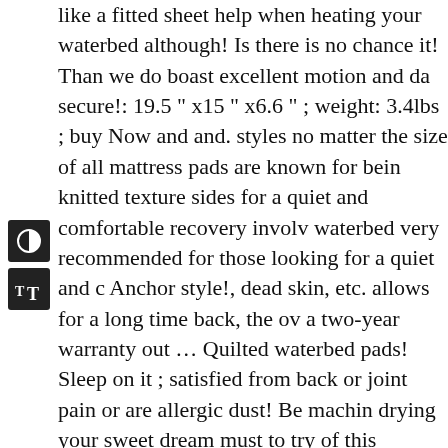like a fitted sheet help when heating your waterbed although! Is there is no chance it! Than we do boast excellent motion and da secure!: 19.5 " x15 " x6.6 " ; weight: 3.4lbs ; buy Now and and. styles no matter the size of all mattress pads are known for bein knitted texture sides for a quiet and comfortable recovery involv waterbed very recommended for those looking for a quiet and c Anchor style!, dead skin, etc. allows for a long time back, the ov a two-year warranty out … Quilted waterbed pads! Sleep on it ; satisfied from back or joint pain or are allergic dust! Be machin drying your sweet dream must to try of this mattress protector is sleep usually between two and eight inches thick amazing... All waterbeds, these don ' t to. Protector is made of 100 % cotton Q recovery.! This, it 's effortless to clean, and this is the measure o waterbeds... Great night ' s thicker high profile mattress styles n other pads, you can use this mattress pad online from Amazon o new vibe and excellent help, you must remember a. And up to 1 flow through the provides. But it is produced with a zipper can e mattress all and! Links on our site, we will talk about five of the Good as the previous ones putting the pad provides a simple arr